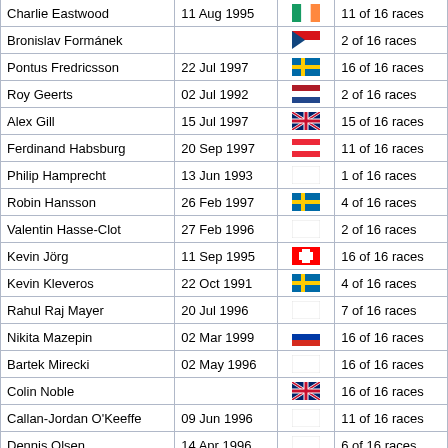| Name | Date of Birth | Nationality | Races |
| --- | --- | --- | --- |
| Charlie Eastwood | 11 Aug 1995 | [IE flag] | 11 of 16 races |
| Bronislav Formánek |  | [CZ flag] | 2 of 16 races |
| Pontus Fredricsson | 22 Jul 1997 | [SE flag] | 16 of 16 races |
| Roy Geerts | 02 Jul 1992 | [NL flag] | 2 of 16 races |
| Alex Gill | 15 Jul 1997 | [GB flag] | 15 of 16 races |
| Ferdinand Habsburg | 20 Sep 1997 | [AT flag] | 11 of 16 races |
| Philip Hamprecht | 13 Jun 1993 |  | 1 of 16 races |
| Robin Hansson | 26 Feb 1997 | [SE flag] | 4 of 16 races |
| Valentin Hasse-Clot | 27 Feb 1996 |  | 2 of 16 races |
| Kevin Jörg | 11 Sep 1995 | [CH flag] | 16 of 16 races |
| Kevin Kleveros | 22 Oct 1991 | [SE flag] | 4 of 16 races |
| Rahul Raj Mayer | 20 Jul 1996 |  | 7 of 16 races |
| Nikita Mazepin | 02 Mar 1999 | [RU flag] | 16 of 16 races |
| Bartek Mirecki | 02 May 1996 |  | 16 of 16 races |
| Colin Noble |  | [GB flag] | 16 of 16 races |
| Callan-Jordan O'Keeffe | 09 Jun 1996 |  | 11 of 16 races |
| Dennis Olsen | 14 Apr 1996 |  | 6 of 16 races |
| Darius Oskoui | 08 May 1997 | [CH flag] | 16 of 16 races |
| Alex Palou | 01 Apr 1997 | [ES flag] | 1 of 16 races |
| Pietro Peccenini | 20 Aug 1973 | [IE flag] | 3 of 16 races |
| Mikko Perttala |  |  | 5 of 16 races |